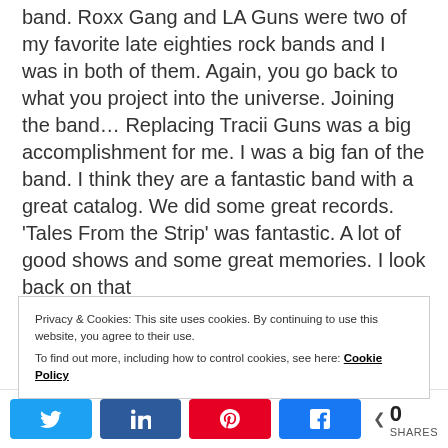band. Roxx Gang and LA Guns were two of my favorite late eighties rock bands and I was in both of them. Again, you go back to what you project into the universe. Joining the band... Replacing Tracii Guns was a big accomplishment for me. I was a big fan of the band. I think they are a fantastic band with a great catalog. We did some great records. 'Tales From the Strip' was fantastic. A lot of good shows and some great memories. I look back on that
Privacy & Cookies: This site uses cookies. By continuing to use this website, you agree to their use. To find out more, including how to control cookies, see here: Cookie Policy
0 SHARES